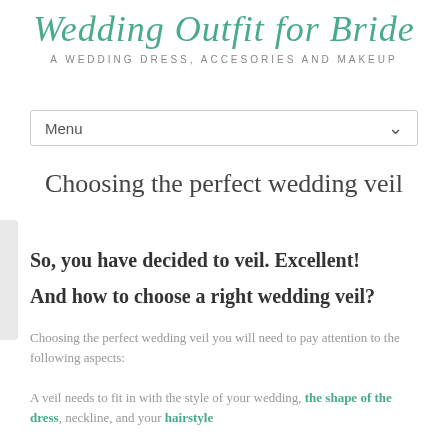Wedding Outfit for Bride
A WEDDING DRESS, ACCESORIES AND MAKEUP
Menu
Choosing the perfect wedding veil
So, you have decided to veil. Excellent!
And how to choose a right wedding veil?
Choosing the perfect wedding veil you will need to pay attention to the following aspects:
A veil needs to fit in with the style of your wedding, the shape of the dress, neckline, and your hairstyle